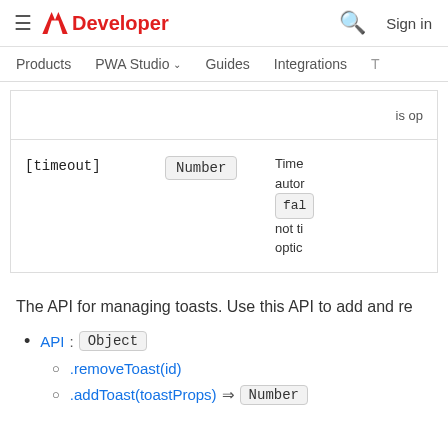≡ Adobe Developer | Search | Sign in
Products  PWA Studio ⌄  Guides  Integrations  T
| Name | Type | Description |
| --- | --- | --- |
|  |  | is op |
| [timeout] | Number | Time auto
fal
not ti
optic |
The API for managing toasts. Use this API to add and r
API : Object
.removeToast(id)
.addToast(toastProps) ⇒ Number